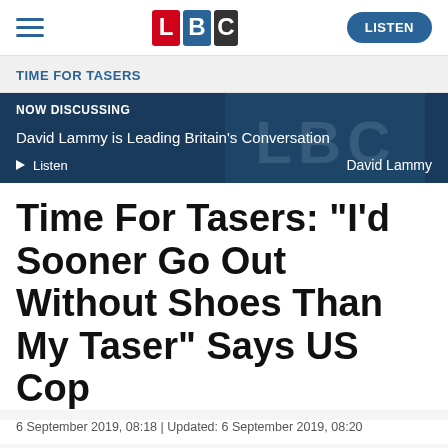LBC | LISTEN
TIME FOR TASERS
[Figure (screenshot): LBC Now Discussing banner showing 'NOW DISCUSSING — David Lammy is Leading Britain's Conversation' with Listen button and David Lammy name on a dark blue background]
Time For Tasers: "I'd Sooner Go Out Without Shoes Than My Taser" Says US Cop
6 September 2019, 08:18 | Updated: 6 September 2019, 08:20